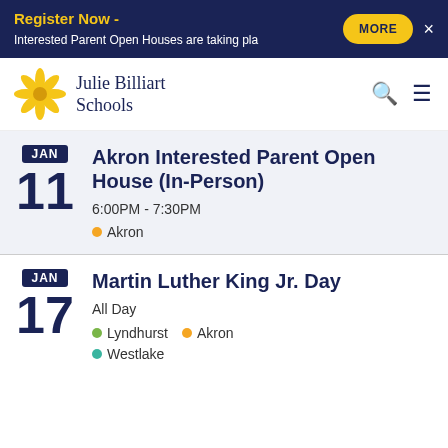Register Now - Interested Parent Open Houses are taking pla…
[Figure (logo): Julie Billiart Schools sunflower logo]
Julie Billiart Schools
JAN 11 — Akron Interested Parent Open House (In-Person)
6:00PM - 7:30PM
● Akron
JAN 17 — Martin Luther King Jr. Day
All Day
● Lyndhurst  ● Akron
● Westlake